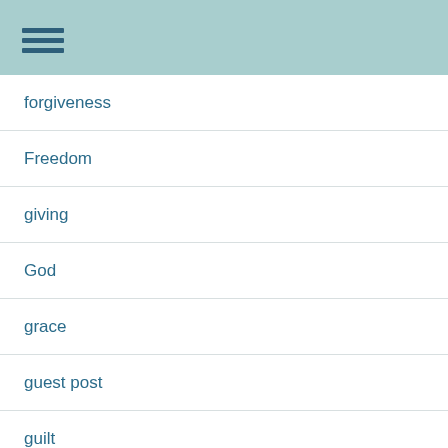forgiveness
Freedom
giving
God
grace
guest post
guilt
heaven
Holy Spirit